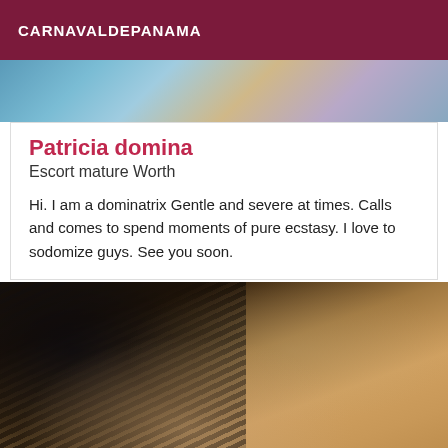CARNAVALDEPANAMA
[Figure (photo): Partial photo visible at top of page — appears to be a person, mostly cropped out]
Patricia domina
Escort mature Worth
Hi. I am a dominatrix Gentle and severe at times. Calls and comes to spend moments of pure ecstasy. I love to sodomize guys. See you soon.
[Figure (photo): Photo of a woman with curly dark hair, smiling, taken in a room with shelves/books in background]